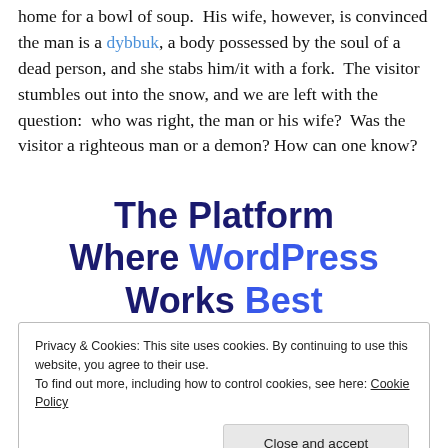home for a bowl of soup.  His wife, however, is convinced the man is a dybbuk, a body possessed by the soul of a dead person, and she stabs him/it with a fork.  The visitor stumbles out into the snow, and we are left with the question:  who was right, the man or his wife?  Was the visitor a righteous man or a demon? How can one know?
The Platform Where WordPress Works Best
Privacy & Cookies: This site uses cookies. By continuing to use this website, you agree to their use.
To find out more, including how to control cookies, see here: Cookie Policy
Close and accept